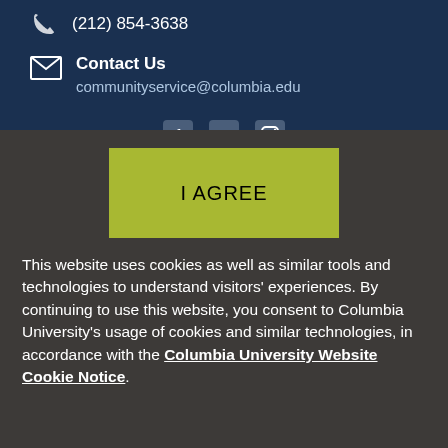(212) 854-3638
Contact Us
communityservice@columbia.edu
[Figure (infographic): Social media icons: Facebook, Twitter, Instagram on dark navy background]
[Figure (other): I AGREE button with olive/yellow-green background]
This website uses cookies as well as similar tools and technologies to understand visitors' experiences. By continuing to use this website, you consent to Columbia University's usage of cookies and similar technologies, in accordance with the Columbia University Website Cookie Notice.